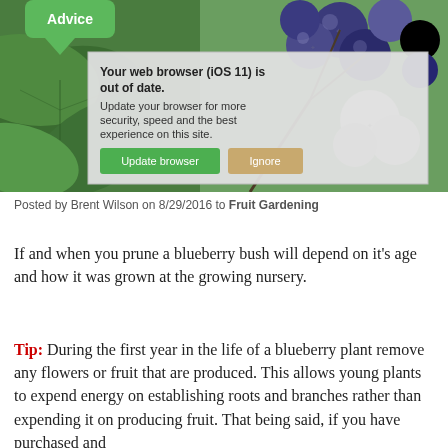[Figure (photo): Blueberry bush photo with green leaves and ripe blueberries, with a browser update popup overlay showing 'Your web browser (iOS 11) is out of date.' message and Update browser / Ignore buttons, and an 'Advice' badge in the top left.]
Posted by Brent Wilson on 8/29/2016 to Fruit Gardening
If and when you prune a blueberry bush will depend on it's age and how it was grown at the growing nursery.
Tip:  During the first year in the life of a blueberry plant remove any flowers or fruit that are produced. This allows young plants to expend energy on establishing roots and branches rather than expending it on producing fruit. That being said, if you have purchased and